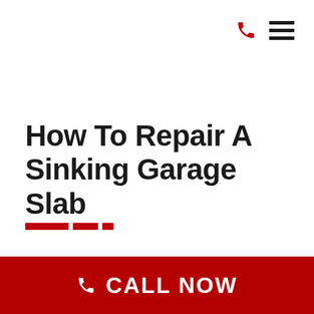Navigation icons: phone and hamburger menu
How To Repair A Sinking Garage Slab
[Figure (other): Red decorative dashes/divider line composed of three horizontal bars of decreasing length]
CALL NOW